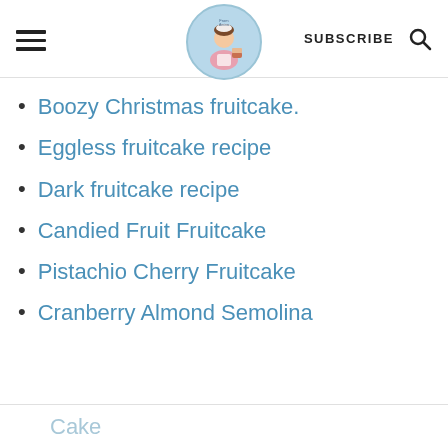SUBSCRIBE
Boozy Christmas fruitcake.
Eggless fruitcake recipe
Dark fruitcake recipe
Candied Fruit Fruitcake
Pistachio Cherry Fruitcake
Cranberry Almond Semolina Cake